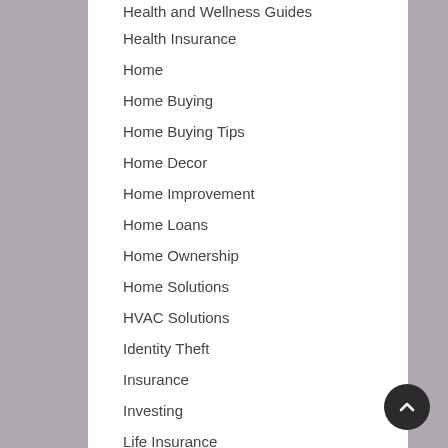Health and Wellness Guides
Health Insurance
Home
Home Buying
Home Buying Tips
Home Decor
Home Improvement
Home Loans
Home Ownership
Home Solutions
HVAC Solutions
Identity Theft
Insurance
Investing
Life Insurance
Loans
Market News
Medical Care